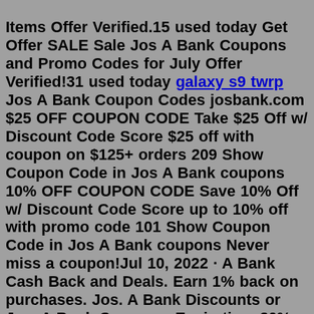Items Offer Verified.15 used today Get Offer SALE Sale Jos A Bank Coupons and Promo Codes for July Offer Verified!31 used today galaxy s9 twrp Jos A Bank Coupon Codes josbank.com $25 OFF COUPON CODE Take $25 Off w/ Discount Code Score $25 off with coupon on $125+ orders 209 Show Coupon Code in Jos A Bank coupons 10% OFF COUPON CODE Save 10% Off w/ Discount Code Score up to 10% off with promo code 101 Show Coupon Code in Jos A Bank coupons Never miss a coupon!Jul 10, 2022 · A Bank Cash Back and Deals. Earn 1% back on purchases. Jos. A Bank Discounts or Jos. A Bank Coupons. Expiration. 30% off Tees! Click here to use this Jos. A Bank Coupon and visit Jos. Coupon may be used only once and must be surrendered at time of purchase. Coupon is not redeemable for cash or credit. Customers returning items purchased with this coupon will forfeit the portion of the coupon used for those items; the Jos. A. Bank return policy will apply to the remainder of the purchase. General restrictions apply. ×Discounted Price with Coupon: $150 Ongoing